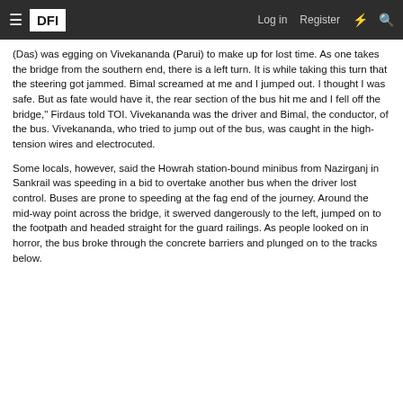DFI | Log in | Register
(Das) was egging on Vivekananda (Parui) to make up for lost time. As one takes the bridge from the southern end, there is a left turn. It is while taking this turn that the steering got jammed. Bimal screamed at me and I jumped out. I thought I was safe. But as fate would have it, the rear section of the bus hit me and I fell off the bridge," Firdaus told TOI. Vivekananda was the driver and Bimal, the conductor, of the bus. Vivekananda, who tried to jump out of the bus, was caught in the high-tension wires and electrocuted.
Some locals, however, said the Howrah station-bound minibus from Nazirganj in Sankrail was speeding in a bid to overtake another bus when the driver lost control. Buses are prone to speeding at the fag end of the journey. Around the mid-way point across the bridge, it swerved dangerously to the left, jumped on to the footpath and headed straight for the guard railings. As people looked on in horror, the bus broke through the concrete barriers and plunged on to the tracks below.